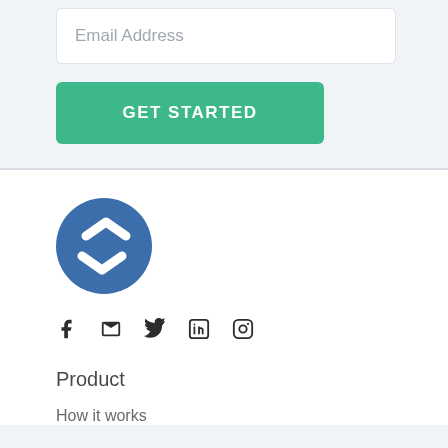[Figure (other): Email address input field with placeholder text]
GET STARTED
[Figure (logo): Company logo: blue circle with white double-arrow chevron symbol pointing right]
[Figure (other): Social media icons: Facebook, Email/Envelope, Twitter, LinkedIn, Instagram]
Product
How it works